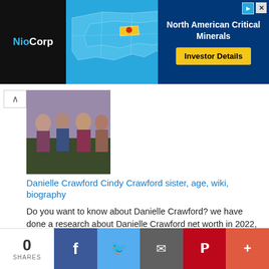[Figure (screenshot): Advertisement banner: NioCorp logo on black left side, US map graphic in center on blue background, North American Critical Minerals text with Investor Details yellow button on dark blue right side]
[Figure (photo): Group photo of several women outdoors, thumbnail for Danielle Crawford article]
Danielle Crawford Cindy Crawford sister, age, wiki, biography
Do you want to know about Danielle Crawford? we have done a research about Danielle Crawford net worth in 2022, height, weight, age, biograp...
[Figure (photo): Woman in orange/pink dress standing on a road with arms outstretched, thumbnail for Sima Taparia article]
Sima Taparia Fees, Cost, Sima Auntie, Matchmaker, Website, Contact, Indian Matchmaking, Age, How Old, Height, Weight, Net Worth, Wiki, Family, Bio, Husband
Do you want to know about Sima Taparia? we have done a research about Sima Taparia in 2021, height, weight, age, biography, and complete det...
0 SHARES | Facebook | Twitter | Email | Pinterest | More